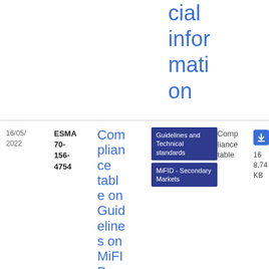cial information
16/05/2022
ESMA 70-156-4754
Compliance table on Guidelines on MiFID II/MiFIR obligations on mark
Guidelines and Technical standards
MiFID - Secondary Markets
Compliance table
PDF
168.74 KB